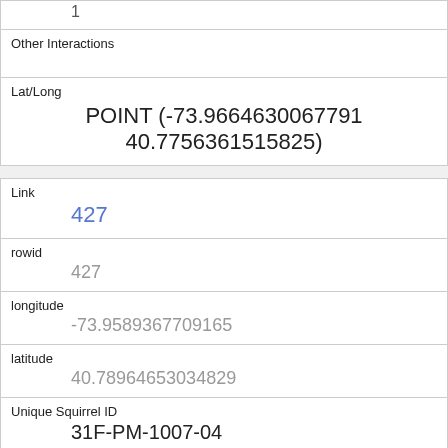| 1 |
| Other Interactions |  |
| Lat/Long | POINT (-73.9664630067791 40.7756361515825) |
| Link | 427 |
| rowid | 427 |
| longitude | -73.9589367709165 |
| latitude | 40.78964653034829 |
| Unique Squirrel ID | 31F-PM-1007-04 |
| Hectare | 31F |
| Shift | PM |
| Date |  |